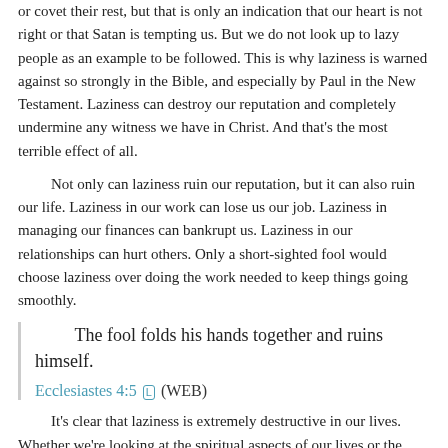or covet their rest, but that is only an indication that our heart is not right or that Satan is tempting us. But we do not look up to lazy people as an example to be followed. This is why laziness is warned against so strongly in the Bible, and especially by Paul in the New Testament. Laziness can destroy our reputation and completely undermine any witness we have in Christ. And that's the most terrible effect of all.
Not only can laziness ruin our reputation, but it can also ruin our life. Laziness in our work can lose us our job. Laziness in managing our finances can bankrupt us. Laziness in our relationships can hurt others. Only a short-sighted fool would choose laziness over doing the work needed to keep things going smoothly.
The fool folds his hands together and ruins himself.
Ecclesiastes 4:5 🔲 (WEB)
It's clear that laziness is extremely destructive in our lives. Whether we're looking at the spiritual aspects of our lives or the temporal, the devastating effects of laziness are not worth the fleeting pleasure of rest. Even just a little bit of laziness can